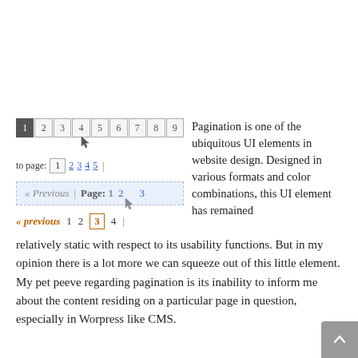[Figure (screenshot): Three pagination UI examples: (1) numbered boxes 1-9 with cursor on box 4, and 'to page: 1 2 3 4 5' links below; (2) light blue previous/page 1 2 3 pagination bar with cursor on 2; (3) orange-accented previous 1 2 3 4 pagination bar]
Pagination is one of the ubiquitous UI elements in website design. Designed in various formats and color combinations, this UI element has remained relatively static with respect to its usability functions. But in my opinion there is a lot more we can squeeze out of this little element. My pet peeve regarding pagination is its inability to inform me about the content residing on a particular page in question, especially in Worpress like CMS.